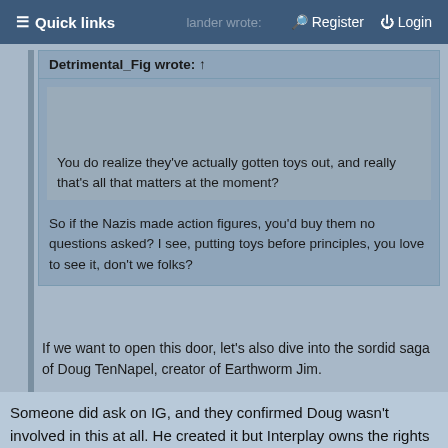≡ Quick links | [lander wrote:] | Register | Login
Detrimental_Fig wrote: ↑
You do realize they've actually gotten toys out, and really that's all that matters at the moment?
So if the Nazis made action figures, you'd buy them no questions asked? I see, putting toys before principles, you love to see it, don't we folks?
If we want to open this door, let's also dive into the sordid saga of Doug TenNapel, creator of Earthworm Jim.
Someone did ask on IG, and they confirmed Doug wasn't involved in this at all. He created it but Interplay owns the rights completely, I don't think he sees a cent from all of this.